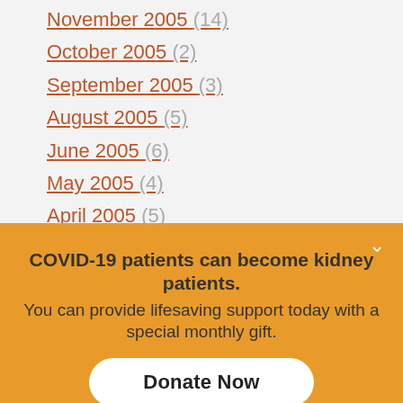November 2005 (14)
October 2005 (2)
September 2005 (3)
August 2005 (5)
June 2005 (6)
May 2005 (4)
April 2005 (5)
February 2005 (1)
× 2005
COVID-19 patients can become kidney patients. You can provide lifesaving support today with a special monthly gift.
Donate Now